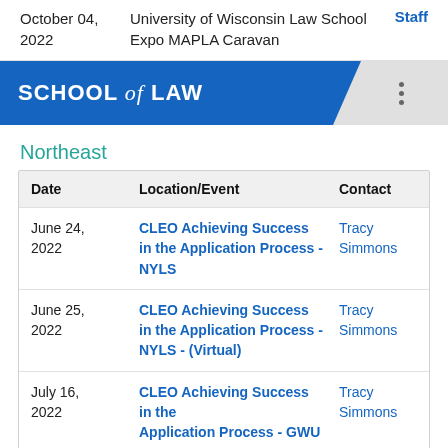October 04, 2022  University of Wisconsin Law School Expo MAPLA Caravan  Staff
[Figure (logo): University School of Law blue banner logo with text 'SCHOOL of LAW']
Northeast
| Date | Location/Event | Contact |
| --- | --- | --- |
| June 24, 2022 | CLEO Achieving Success in the Application Process - NYLS | Tracy Simmons |
| June 25, 2022 | CLEO Achieving Success in the Application Process - NYLS - (Virtual) | Tracy Simmons |
| July 16, 2022 | CLEO Achieving Success in the Application Process - GWU | Tracy Simmons |